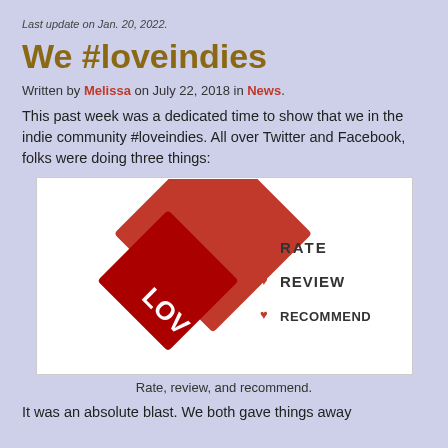Last update on Jan. 20, 2022.
We #loveindies
Written by Melissa on July 22, 2018 in News.
This past week was a dedicated time to show that we in the indie community #loveindies. All over Twitter and Facebook, folks were doing three things:
[Figure (illustration): Logo with two overlapping red diamond/heart shapes with 'LOV' text, and three bullet points: RATE, REVIEW, RECOMMEND, each preceded by a small red heart icon.]
Rate, review, and recommend.
It was an absolute blast. We both gave things away